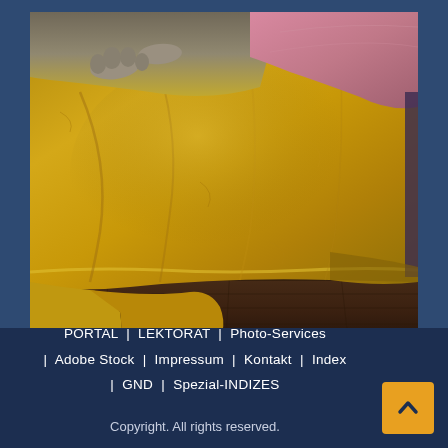[Figure (photo): A dog lying on a yellow/mustard fleece blanket draped over a sofa or bed. A pink pillow is visible at top right. Dog paws are visible at top left. A dark wooden floor is visible beneath the blanket that drapes to the floor.]
PORTAL | LEKTORAT | Photo-Services | Adobe Stock | Impressum | Kontakt | Index | GND | Spezial-INDIZES Copyright. All rights reserved.